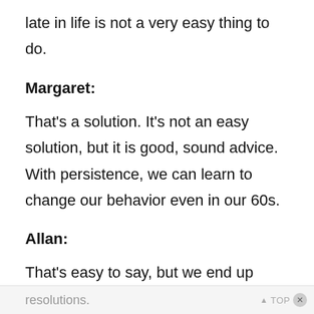late in life is not a very easy thing to do.
Margaret:
That's a solution. It's not an easy solution, but it is good, sound advice. With persistence, we can learn to change our behavior even in our 60s.
Allan:
That's easy to say, but we end up breaking most of our New Year's
resolutions.